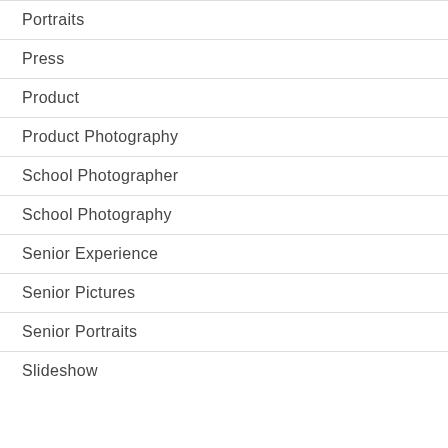Portraits
Press
Product
Product Photography
School Photographer
School Photography
Senior Experience
Senior Pictures
Senior Portraits
Slideshow